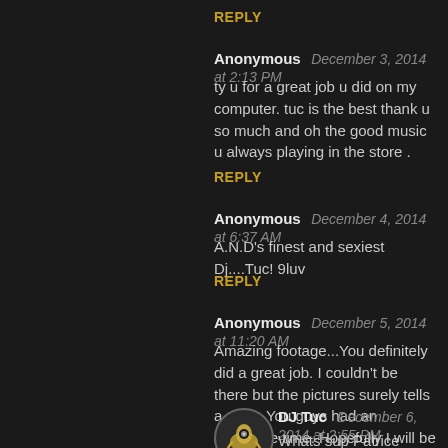REPLY
Anonymous   December 3, 2014 at 2:13 PM
ty u for a great job u did on my computer. tuc is the best thank u so much and oh the good music u always playing in the store .
REPLY
Anonymous   December 4, 2014 at 6:37 AM
A.N.D's finest and sexiest Dj....Tuc! 9luv
REPLY
Anonymous   December 5, 2014 at 11:20 AM
Amazing footage...You definitely did a great job. I couldn't be there but the pictures surely tells a story. You guys had an awesome time. Hopefully I will be with you next time. Patrice
DJ Tuc   December 6, 2014 at 2:55 PM
Whats sup Patrice thanks for your